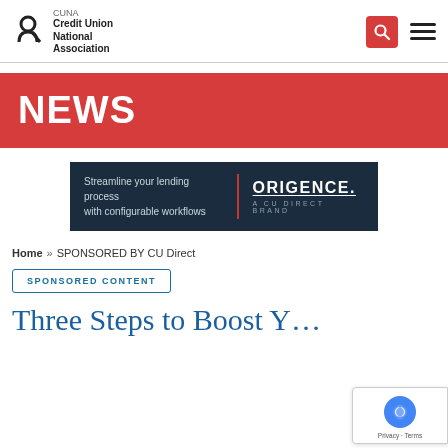Credit Union National Association
[Figure (logo): CUNA Credit Union National Association logo with stylized R icon]
NEWS
[Figure (infographic): ORIGENCE A CU DIRECT BRAND ad banner: Streamline your lending process with configurable workflows]
Home » SPONSORED BY CU Direct
SPONSORED CONTENT
Three Steps to Boost Y...